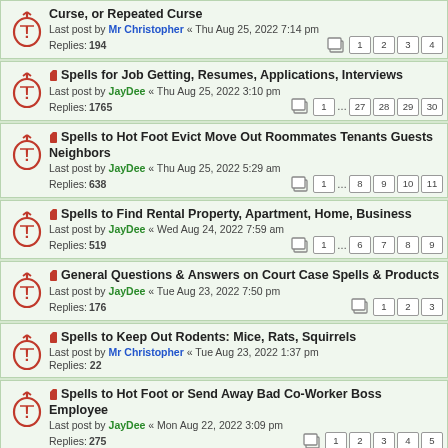Curse, or Repeated Curse — Last post by Mr Christopher « Thu Aug 25, 2022 7:14 pm — Replies: 194 — Pages: 1 2 3 4
Spells for Job Getting, Resumes, Applications, Interviews — Last post by JayDee « Thu Aug 25, 2022 3:10 pm — Replies: 1765 — Pages: 1 ... 27 28 29 30
Spells to Hot Foot Evict Move Out Roommates Tenants Guests Neighbors — Last post by JayDee « Thu Aug 25, 2022 5:29 am — Replies: 638 — Pages: 1 ... 8 9 10 11
Spells to Find Rental Property, Apartment, Home, Business — Last post by JayDee « Wed Aug 24, 2022 7:59 am — Replies: 519 — Pages: 1 ... 6 7 8 9
General Questions & Answers on Court Case Spells & Products — Last post by JayDee « Tue Aug 23, 2022 7:50 pm — Replies: 176 — Pages: 1 2 3
Spells to Keep Out Rodents: Mice, Rats, Squirrels — Last post by Mr Christopher « Tue Aug 23, 2022 1:37 pm — Replies: 22
Spells to Hot Foot or Send Away Bad Co-Worker Boss Employee — Last post by JayDee « Mon Aug 22, 2022 3:09 pm — Replies: 275 — Pages: 1 2 3 4 5